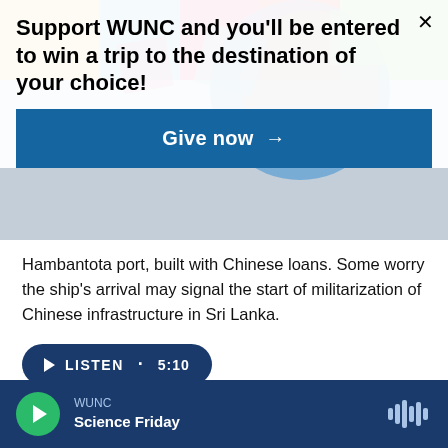[Figure (screenshot): Colorful abstract geometric background with circles and rectangles in blue, pink, green, yellow, red tones]
Support WUNC and you'll be entered to win a trip to the destination of your choice!
Give now →
Hambantota port, built with Chinese loans. Some worry the ship's arrival may signal the start of militarization of Chinese infrastructure in Sri Lanka.
LISTEN • 5:10
[Figure (photo): A cardboard sign with red text reading 'AGAINST ABORTION: VASECTOMY' held up at a protest]
WUNC
Science Friday